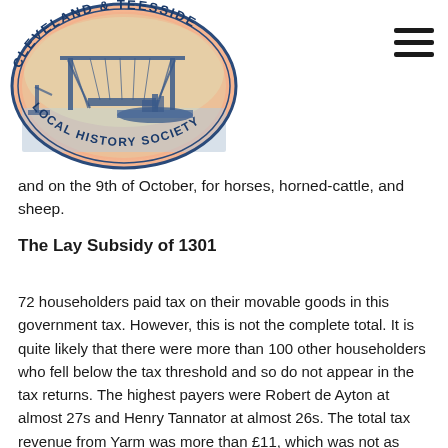[Figure (logo): Cleveland & Teesside Local History Society circular logo featuring a transporter bridge and ship on water, with text around the border reading CLEVELAND & TEESSIDE LOCAL HISTORY SOCIETY]
and on the 9th of October, for horses, horned-cattle, and sheep.
The Lay Subsidy of 1301
72 householders paid tax on their movable goods in this government tax. However, this is not the complete total. It is quite likely that there were more than 100 other householders who fell below the tax threshold and so do not appear in the tax returns. The highest payers were Robert de Ayton at almost 27s and Henry Tannator at almost 26s. The total tax revenue from Yarm was more than £11, which was not as much as Whitby or Richmond, but more than anywhere else in Langbaurgh Wapentake. Several of the surnames in the Yarm tax returns were based on occupations, some from French, some Latinised. For